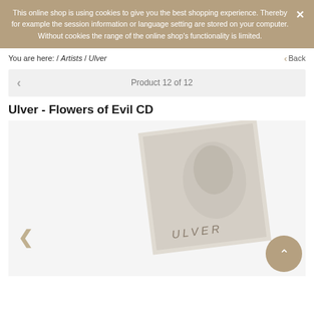This online shop is using cookies to give you the best shopping experience. Thereby for example the session information or language setting are stored on your computer. Without cookies the range of the online shop's functionality is limited.
You are here: / Artists / Ulver
Back
Product 12 of 12
Ulver - Flowers of Evil CD
[Figure (photo): Product image of Ulver - Flowers of Evil CD, showing album cover with a person's face, rotated slightly, displayed against a light grey background. A left navigation arrow is visible on the lower left, and a scroll-to-top button on the lower right.]